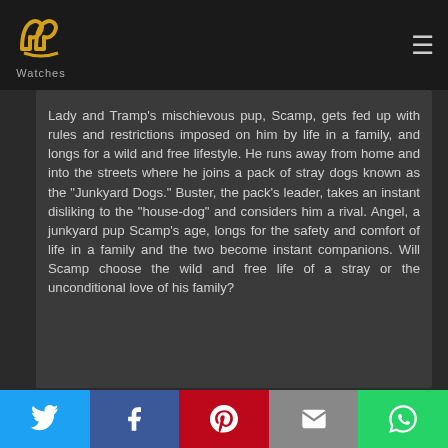[Figure (logo): PP Watches logo - two golden P letters styled as headphones/watch icon with 'Watches' text below]
Lady and Tramp's mischievous pup, Scamp, gets fed up with rules and restrictions imposed on him by life in a family, and longs for a wild and free lifestyle. He runs away from home and into the streets where he joins a pack of stray dogs known as the "Junkyard Dogs." Buster, the pack's leader, takes an instant disliking to the "house-dog" and considers him a rival. Angel, a junkyard pup Scamp's age, longs for the safety and comfort of life in a family and the two become instant companions. Will Scamp choose the wild and free life of a stray or the unconditional love of his family?